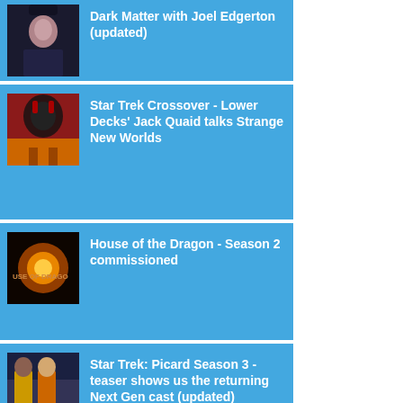Dark Matter with Joel Edgerton (updated)
Star Trek Crossover - Lower Decks' Jack Quaid talks Strange New Worlds
House of the Dragon - Season 2 commissioned
Star Trek: Picard Season 3 - teaser shows us the returning Next Gen cast (updated)
The Ninth Doctor Adventures: Into the Stars – audio boxset